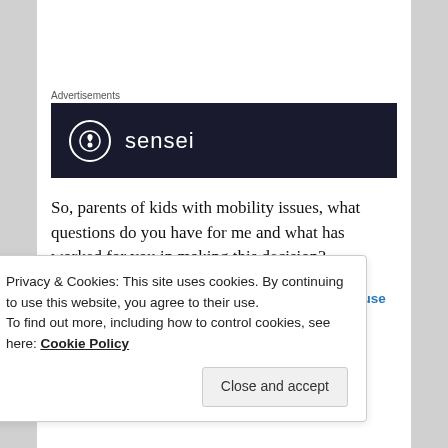Advertisements
[Figure (logo): Dark navy banner with a white circle icon containing a tree/bonsai symbol and the word 'sensei' in white sans-serif text]
So, parents of kids with mobility issues, what questions do you have for me and what has worked for you in making this decision?
Posted in Uncategorized | Tagged accessibility, house project, wheelchair | 6 Replies
Privacy & Cookies: This site uses cookies. By continuing to use this website, you agree to their use.
To find out more, including how to control cookies, see here: Cookie Policy